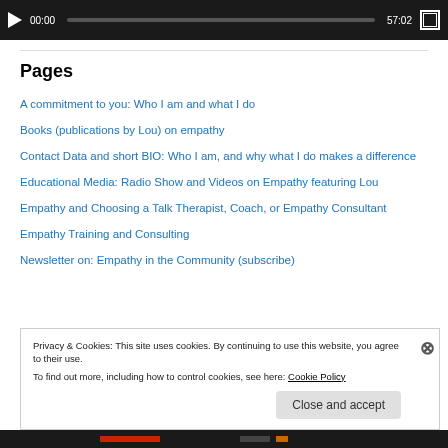[Figure (screenshot): Video player bar showing play button, time 00:00, progress bar, duration 57:02, and fullscreen icon on dark background]
Pages
A commitment to you: Who I am and what I do
Books (publications by Lou) on empathy
Contact Data and short BIO: Who I am, and why what I do makes a difference
Educational Media: Radio Show and Videos on Empathy featuring Lou
Empathy and Choosing a Talk Therapist, Coach, or Empathy Consultant
Empathy Training and Consulting
Newsletter on: Empathy in the Community (subscribe)
Privacy & Cookies: This site uses cookies. By continuing to use this website, you agree to their use. To find out more, including how to control cookies, see here: Cookie Policy
Close and accept